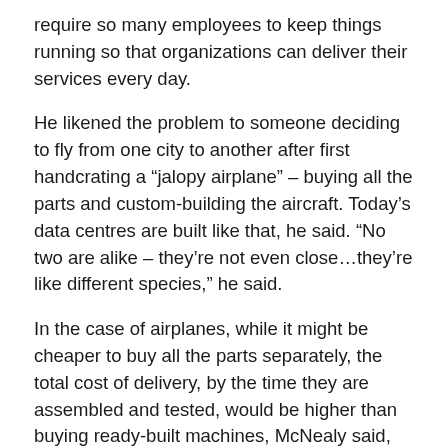require so many employees to keep things running so that organizations can deliver their services every day.
He likened the problem to someone deciding to fly from one city to another after first handcrating a “jalopy airplane” – buying all the parts and custom-building the aircraft. Today’s data centres are built like that, he said. “No two are alike – they’re not even close…they’re like different species,” he said.
In the case of airplanes, while it might be cheaper to buy all the parts separately, the total cost of delivery, by the time they are assembled and tested, would be higher than buying ready-built machines, McNealy said, adding that the same goes for data centres.
Sun’s solution is to offer Intel Corp.-based servers running Linux or Solaris, which, according to the firm,